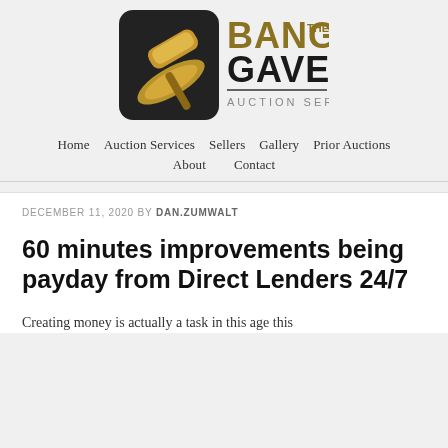[Figure (logo): Bang The Gavel Auction Services logo — gavel image on left, bold text 'BANG GAVEL' with small 'THE' and 'AUCTION SERVICES' below]
Home   Auction Services   Sellers   Gallery   Prior Auctions   About   Contact
DECEMBER 11, 2020 BY DAN.ZUMWALT
60 minutes improvements being payday from Direct Lenders 24/7
Creating money is actually a task in this age this